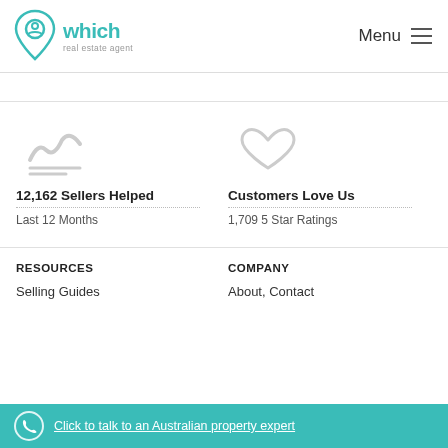which real estate agent | Menu
[Figure (logo): Which Real Estate Agent teal logo with location pin icon and text 'which real estate agent']
[Figure (infographic): Two icons: a trend chart icon (gray) representing 12,162 Sellers Helped in Last 12 Months, and a heart icon (gray) representing Customers Love Us with 1,709 5 Star Ratings]
12,162 Sellers Helped
Last 12 Months
Customers Love Us
1,709 5 Star Ratings
RESOURCES
COMPANY
Selling Guides
About, Contact
Click to talk to an Australian property expert